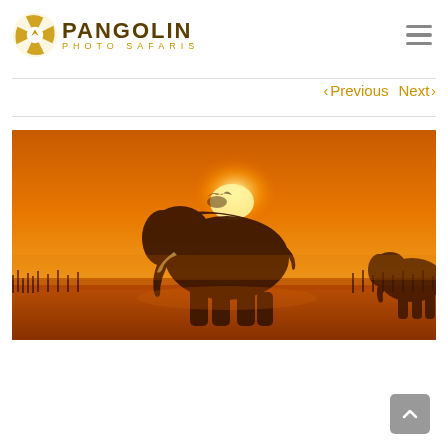[Figure (logo): Pangolin Photo Safaris logo — camera aperture icon in gold/brown with 'PANGOLIN' in dark brown bold uppercase and 'PHOTO SAFARIS' in gold spaced uppercase below]
[Figure (infographic): Three horizontal hamburger menu lines in grey]
< Previous   Next >
[Figure (photo): Dramatic orange sunset silhouette of a large elephant walking in tall grass with sun glowing behind it; a second smaller elephant visible at far right edge; warm amber/orange tones throughout]